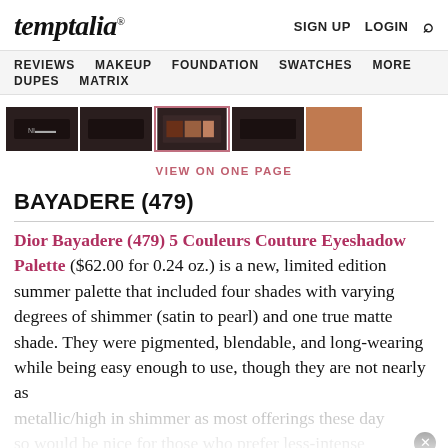temptalia® | SIGN UP  LOGIN  🔍
REVIEWS  MAKEUP  FOUNDATION  SWATCHES  MORE  DUPES  MATRIX
[Figure (photo): Horizontal strip of product thumbnail images — eyeshadow palette views in dark packaging, one selected with pink/mauve border highlight]
VIEW ON ONE PAGE
BAYADERE (479)
Dior Bayadere (479) 5 Couleurs Couture Eyeshadow Palette ($62.00 for 0.24 oz.) is a new, limited edition summer palette that included four shades with varying degrees of shimmer (satin to pearl) and one true matte shade. They were pigmented, blendable, and long-wearing while being easy enough to use, though they are not nearly as metallic/high in shimmer as most offerings these days, so would be nice for those who prefer less-intense